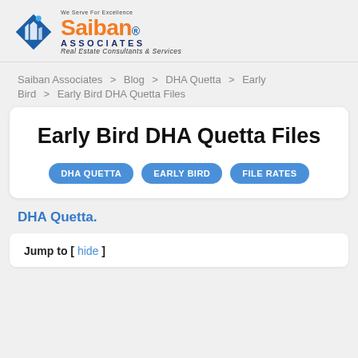[Figure (logo): Saiban Associates logo with orange and blue diamond shape, orange 'Saiban' text with registered mark, navy 'ASSOCIATES' lettering, and tagline 'Real Estate Consultants & Services']
Saiban Associates > Blog > DHA Quetta > Early Bird > Early Bird DHA Quetta Files
Early Bird DHA Quetta Files
DHA QUETTA   EARLY BIRD   FILE RATES
DHA Quetta.
Jump to [ hide ]